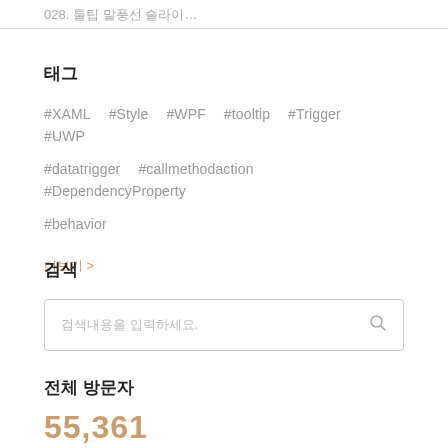028. 툴팁 말풍선 슬라이...
태그
#XAML  #Style  #WPF  #tooltip  #Trigger  #UWP  #datatrigger  #callmethodaction  #DependencyProperty  #behavior
더보기 >
검색
검색내용을 입력하세요.
전체 방문자
55,361